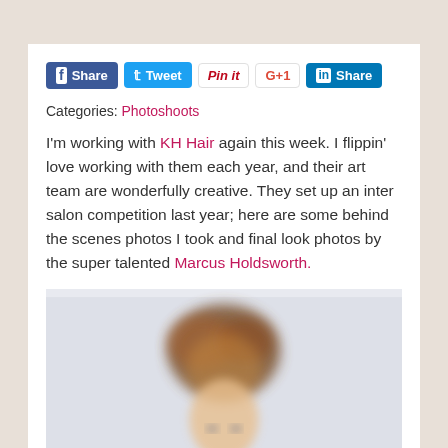[Figure (other): Social share buttons: Facebook Share, Twitter Tweet, Pinterest Pin it, Google G+1, LinkedIn Share]
Categories: Photoshoots
I'm working with KH Hair again this week. I flippin' love working with them each year, and their art team are wonderfully creative. They set up an inter salon competition last year; here are some behind the scenes photos I took and final look photos by the super talented Marcus Holdsworth.
[Figure (photo): A blurred/close-up photo of a person with styled updo brown/auburn hair, face partially visible from below, against a light background.]